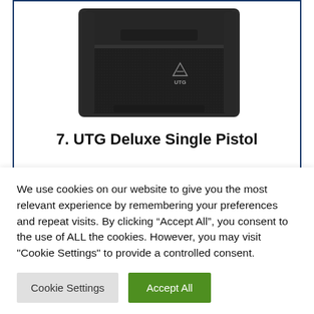[Figure (photo): Black UTG brand tactical pistol case/holster pouch with Velcro flap closure, shown from front angle. UTG logo visible on the fabric.]
7. UTG Deluxe Single Pistol
We use cookies on our website to give you the most relevant experience by remembering your preferences and repeat visits. By clicking “Accept All”, you consent to the use of ALL the cookies. However, you may visit "Cookie Settings" to provide a controlled consent.